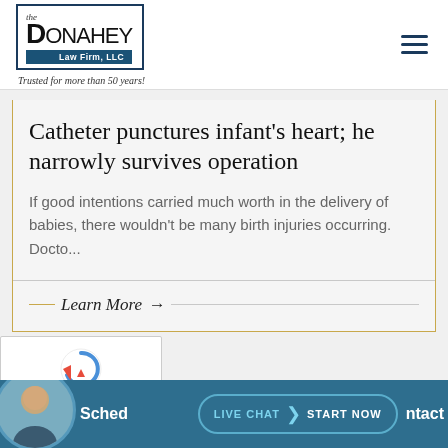[Figure (logo): The Donahey Law Firm LLC logo with text 'Trusted for more than 50 years!']
Catheter punctures infant's heart; he narrowly survives operation
If good intentions carried much worth in the delivery of babies, there wouldn't be many birth injuries occurring. Docto...
Learn More →
[Figure (screenshot): reCAPTCHA widget with Privacy and Terms links]
Sched... ontact
LIVE CHAT  START NOW